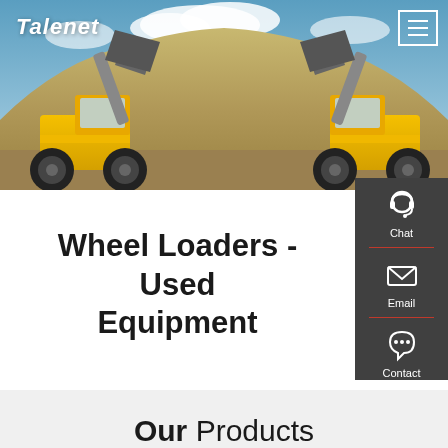[Figure (photo): Two large yellow wheel loaders facing each other with raised buckets, parked on a sandy/dirt site with a large mound of sand/earth between them. Blue sky background.]
Talenet
Wheel Loaders - Used Equipment
[Figure (infographic): Dark grey side panel with Chat (headset icon), Email (envelope icon), and Contact (speech bubble icon) options]
Our Products